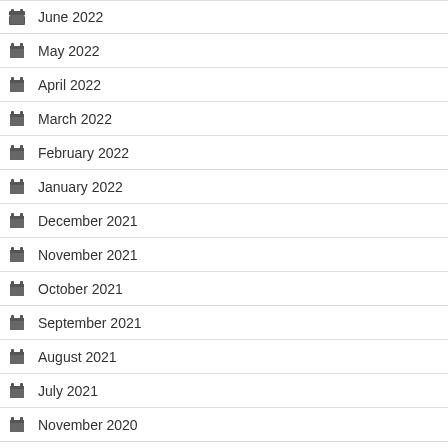June 2022
May 2022
April 2022
March 2022
February 2022
January 2022
December 2021
November 2021
October 2021
September 2021
August 2021
July 2021
November 2020